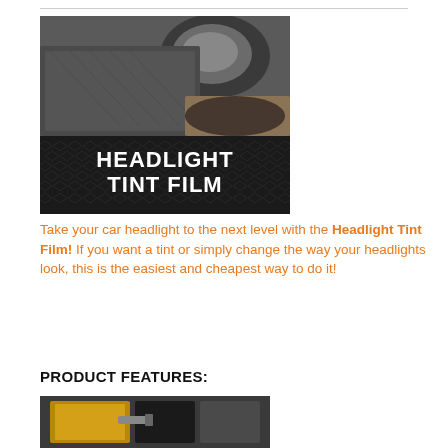[Figure (photo): Product photo of headlight tint film being peeled/rolled, showing a dark tinted film material. Lower portion has a dark diamond-plate textured background with white bold text reading 'HEADLIGHT TINT FILM'.]
Take your car headlight to the next level with the Headlight Tint Film! If you want a tint or simply change the way your headlights look, this is the easiest and cheapest way to do it!
PRODUCT FEATURES:
[Figure (photo): Bottom partial photo showing headlight tint film application product, yellow/gold colored.]